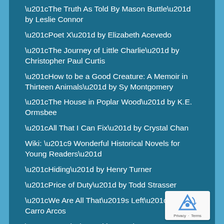“The Truth As Told By Mason Buttle” by Leslie Connor
“Poet X” by Elizabeth Acevedo
“The Journey of Little Charlie” by Christopher Paul Curtis
“How to be a Good Creature: A Memoir in Thirteen Animals” by Sy Montgomery
“The House in Poplar Wood” by K.E. Ormsbee
“All That I Can Fix” by Crystal Chan
Wiki: “9 Wonderful Historical Novels for Young Readers”
“Hiding” by Henry Turner
“Price of Duty” by Todd Strasser
“We Are All That’s Left” by Carro Arcos
“Moonrise” by Sarah Crossan